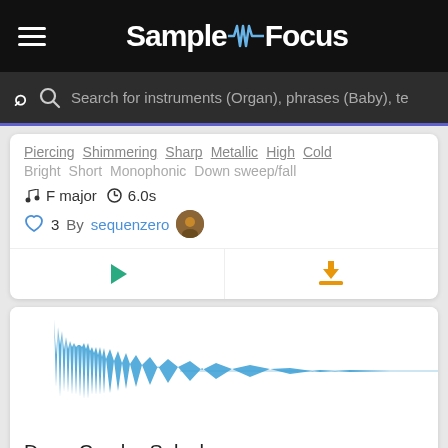SampleFocus
Search for instruments (Organ), phrases (Baby), te
Piercing  Shimmering  Sharp  Metallic  High  Cold
Bright  Short  Monophonic  Down sweep/fall
F major  6.0s
3  By sequenzero
[Figure (continuous-plot): Waveform visualization of a drum crash/splash sound. Blue waveform showing a sharp transient attack at the left and long decay tail to the right, on a white background.]
Drum Crash - Splash